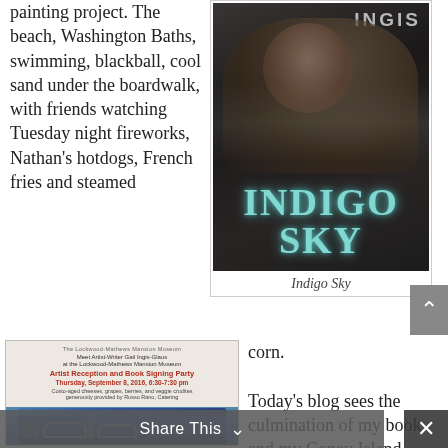painting project. The beach, Washington Baths, swimming, blackball, cool sand under the boardwalk, with friends watching Tuesday night fireworks, Nathan's hotdogs, French fries and steamed
[Figure (photo): Book cover for 'Indigo Sky' — dark dramatic cover with a woman in period dress, the title 'INDIGO SKY' in large teal letters, and 'INGIS' in grey at the top right.]
Indigo Sky
[Figure (photo): Event flyer for an Artist Reception and Book Signing Party at the Lockwood-Mathews Mansion Museum, Thursday September 8, 2016, 6:30-7:30 pm. Bottom portion shows a Coney Island amusement park scene with roller coaster.]
corn.

Today's blog sees the culmination of my book and my Coney Island